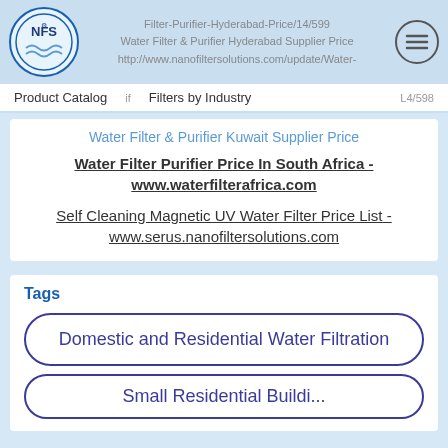Filter-Purifier-Hyderabad-Price/14/599
Water Filter & Purifier Hyderabad Supplier Price
http://www.nanofiltersolutions.com/update/Water-
Product Catalog   if   Filters by Industry   L4/598
Water Filter & Purifier Kuwait Supplier Price
Water Filter Purifier Price In South Africa - www.waterfilterafrica.com
Self Cleaning Magnetic UV Water Filter Price List - www.serus.nanofiltersolutions.com
Tags
Domestic and Residential Water Filtration
Small Residential Buildi...